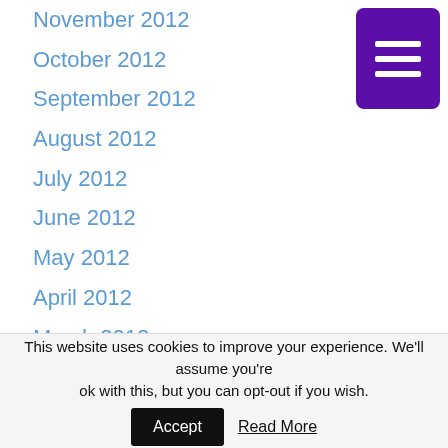November 2012
October 2012
September 2012
August 2012
July 2012
June 2012
May 2012
April 2012
March 2012
February 2012
January 2012
December 2011
November 2011
[Figure (other): Purple hamburger menu button with three white horizontal lines on a purple rounded rectangle background]
This website uses cookies to improve your experience. We'll assume you're ok with this, but you can opt-out if you wish. Accept Read More